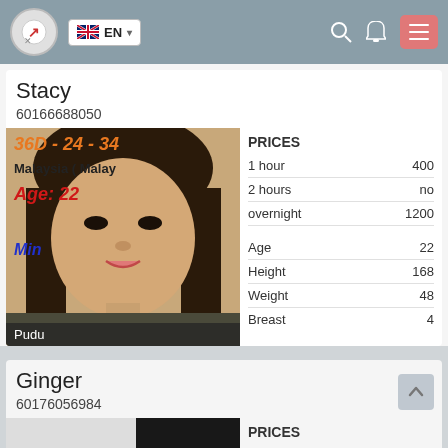EN
Stacy
60166688050
[Figure (photo): Photo of Stacy showing measurements 36D-24-34, Malaysia (Malay), Age: 22, location: Pudu]
|  |  |
| --- | --- |
| PRICES |  |
| 1 hour | 400 |
| 2 hours | no |
| overnight | 1200 |
|  |  |
| Age | 22 |
| Height | 168 |
| Weight | 48 |
| Breast | 4 |
Ginger
60176056984
PRICES